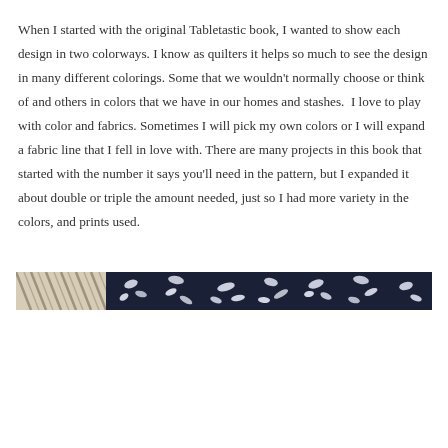When I started with the original Tabletastic book, I wanted to show each design in two colorways. I know as quilters it helps so much to see the design in many different colorings. Some that we wouldn't normally choose or think of and others in colors that we have in our homes and stashes.  I love to play with color and fabrics. Sometimes I will pick my own colors or I will expand a fabric line that I fell in love with. There are many projects in this book that started with the number it says you'll need in the pattern, but I expanded it about double or triple the amount needed, just so I had more variety in the colors, and prints used.
[Figure (photo): A horizontal strip showing fabric samples — on the left a cream/beige fabric with diagonal stripe or chevron pattern, and on the right a dark navy/black fabric with white floral or leaf print pattern.]